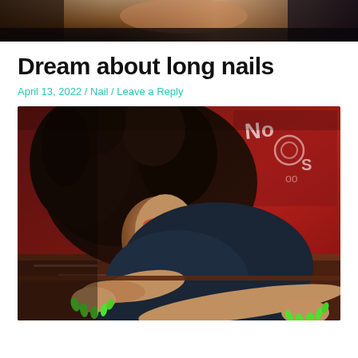[Figure (photo): Partial photo at top of page showing torso/lower body area with warm brown and dark tones — appears to be a cropped portion of a fashion/beauty photo]
Dream about long nails
April 13, 2022 / Nail / Leave a Reply
[Figure (photo): A young Black woman with voluminous curly hair, dramatic makeup with red eyeshadow, lying on a red surface with green long nails visible on both hands. She wears a dark denim jacket and gold jewelry. Red graffiti wall in background.]